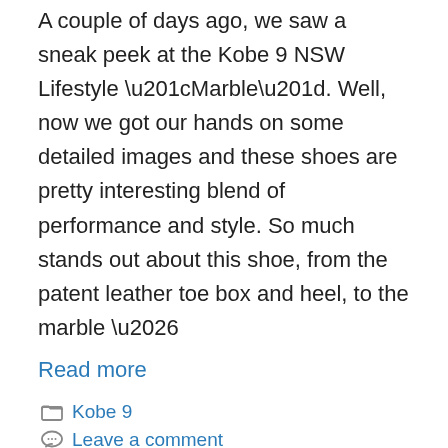A couple of days ago, we saw a sneak peek at the Kobe 9 NSW Lifestyle “Marble”. Well, now we got our hands on some detailed images and these shoes are pretty interesting blend of performance and style. So much stands out about this shoe, from the patent leather toe box and heel, to the marble …
Read more
Kobe 9
Leave a comment
Nike Kobe 9 NSW Lifestyle “Marble” Instagram Teaser
Dec 16, 2013 by admin